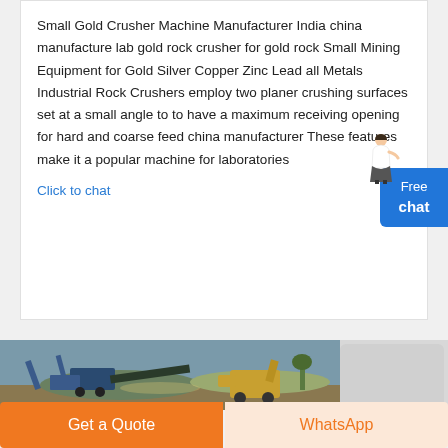Small Gold Crusher Machine Manufacturer India china manufacture lab gold rock crusher for gold rock Small Mining Equipment for Gold Silver Copper Zinc Lead all Metals Industrial Rock Crushers employ two planer crushing surfaces set at a small angle to to have a maximum receiving opening for hard and coarse feed china manufacturer These features make it a popular machine for laboratories
Click to chat
[Figure (photo): Photo of a mining/crushing facility with heavy machinery, conveyor belts and equipment in an open field]
Get a Quote
WhatsApp